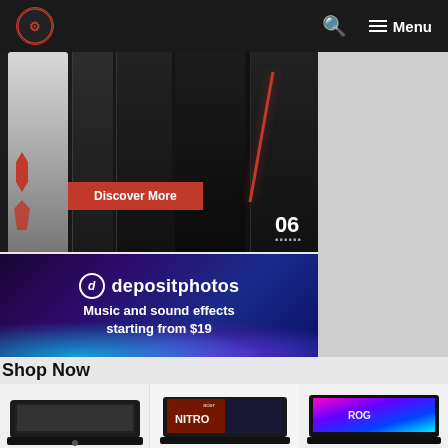Navigation bar with logo, search icon, and Menu
[Figure (photo): Gaming PC hero banner showing white and black tower case with red accents and 'Discover More' red button, number 06 shown bottom right]
[Figure (photo): Depositphotos advertisement banner: Music and sound effects starting from $19 on dark purple/blue background]
[Figure (photo): Gray sidebar/advertisement area on the right]
Shop Now
[Figure (photo): ASUS TUF gaming laptop - black, shown from above at slight angle]
[Figure (photo): Acer Nitro gaming laptop with colorful game artwork on screen]
[Figure (photo): ASUS ROG gaming laptop with colorful RGB lighting]